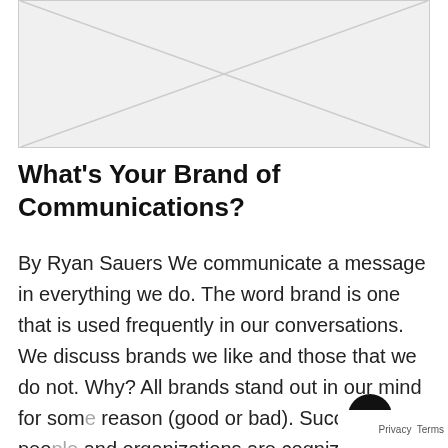[Figure (other): Placeholder image with diagonal lines forming an X pattern on a light gray background with border]
What’s Your Brand of Communications?
By Ryan Sauers We communicate a message in everything we do. The word brand is one that is used frequently in our conversations. We discuss brands we like and those that we do not. Why? All brands stand out in our mind for some reason (good or bad). Successful people and organizations are cognizant of this